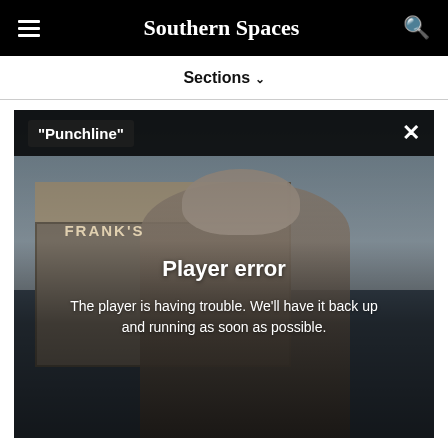Southern Spaces
Sections ∨
[Figure (screenshot): Video player showing a dark scene of an elderly man in front of a building with a 'FRANK'S' sign. The player displays a 'Player error' overlay with the message: The player is having trouble. We'll have it back up and running as soon as possible. The video title bar shows '"Punchline"' and a close (X) button.]
Player error
The player is having trouble. We'll have it back up and running as soon as possible.